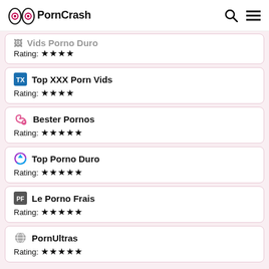PornCrash
Vids Porno Duro — Rating: ★★★★
Top XXX Porn Vids — Rating: ★★★★
Bester Pornos — Rating: ★★★★★
Top Porno Duro — Rating: ★★★★★
Le Porno Frais — Rating: ★★★★★
PornUltras — Rating: ★★★★★